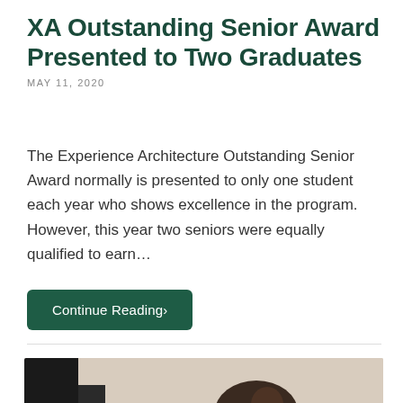XA Outstanding Senior Award Presented to Two Graduates
MAY 11, 2020
The Experience Architecture Outstanding Senior Award normally is presented to only one student each year who shows excellence in the program. However, this year two seniors were equally qualified to earn...
Continue Reading›
[Figure (photo): A young woman with dark hair sitting in front of a computer screen in a room with light-colored walls.]